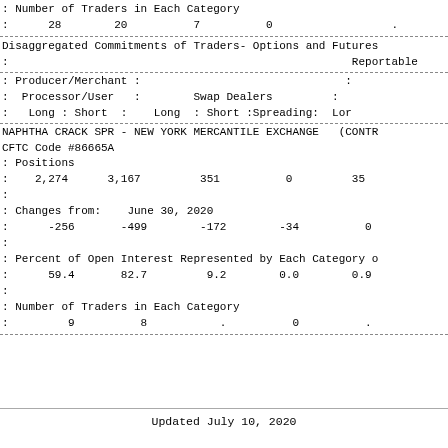: Number of Traders in Each Category
:     28        20          7          0                  .
Disaggregated Commitments of Traders- Options and Futures
:                                                    Reportable
| Producer/Merchant |  | Swap Dealers |  |
| --- | --- | --- | --- |
| Processor/User : |  | Swap Dealers | : |
| Long : Short : | Long : Short :Spreading: | Lon |  |
NAPHTHA CRACK SPR - NEW YORK MERCANTILE EXCHANGE  (CONTR
CFTC Code #86665A
: Positions
:    2,274      3,167         351          0         35
:
: Changes from:    June 30, 2020
:      -256       -499        -172        -34          0
:
: Percent of Open Interest Represented by Each Category o
:      59.4       82.7         9.2        0.0        0.9
:
: Number of Traders in Each Category
:         9          8           .          0          .
Updated July 10, 2020